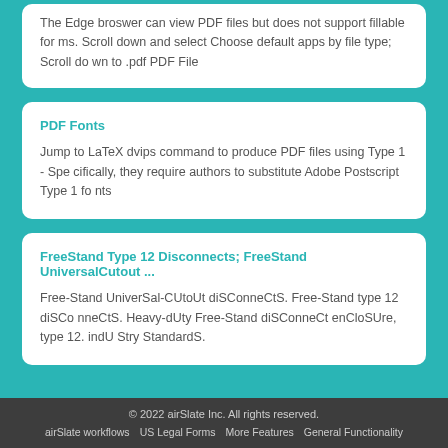The Edge broswer can view PDF files but does not support fillable forms. Scroll down and select Choose default apps by file type; Scroll down to .pdf PDF File
PDF Fonts
Jump to LaTeX dvips command to produce PDF files using Type 1 - Specifically, they require authors to substitute Adobe Postscript Type 1 fonts
FreeStand Type 12 Disconnects; FreeStand UniversalCutout ...
Free-Stand UniverSal-CUtoUt diSConneCtS. Free-Stand type 12 diSConneCtS. Heavy-dUty Free-Stand diSConneCt enCloSUre, type 12. indUStry StandardS.
© 2022 airSlate Inc. All rights reserved. airSlate workflows  US Legal Forms  More Features  General Functionality